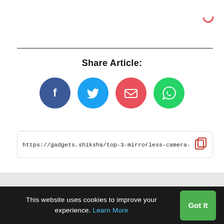[Figure (infographic): Pink/red loading spinner arc icon in top right corner]
Share Article:
[Figure (infographic): Four social share buttons: Facebook (blue circle with f), Twitter (light blue circle with bird), Email (red circle with envelope), WhatsApp (green circle with phone/chat icon)]
https://gadgets.shiksha/top-3-mirrorless-camera-with-
This website uses cookies to improve your experience. Learn More
Got It